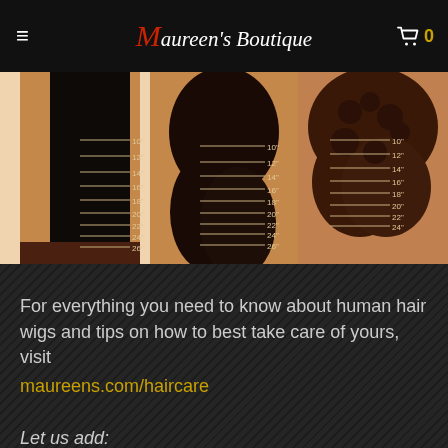Maureen's Boutique — navigation header with hamburger menu and cart icon showing 0
[Figure (photo): Three women shown from behind displaying hair length measurement guides at 10, 12, 14, 16, 18, 20, 22, 24, 26 inches — left: straight black hair, center: wavy dark hair, right: curly brown hair]
For everything you need to know about human hair wigs and tips on how to best take care of yours, visit maureens.com/haircare
Let us add: